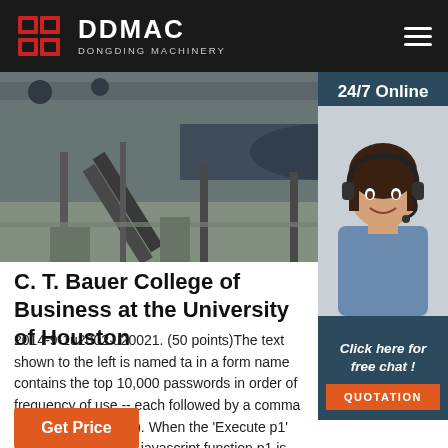DDMAC DONGDING MACHINERY
[Figure (photo): Industrial machinery with conveyor belts and large cylindrical equipment in a factory setting]
[Figure (photo): 24/7 Online customer service agent - woman with headset smiling]
C. T. Bauer College of Business at the University of Houston
2014-9-1u2002·u20021. (50 points)The text shown to the left is named ta in a form name contains the top 10,000 passwords in order of frequency of use -- each followed by a comma (except the last one). When the 'Execute p1' button is clicked the javascript function p1 is …
[Figure (other): Get Price button - orange/red button at bottom]